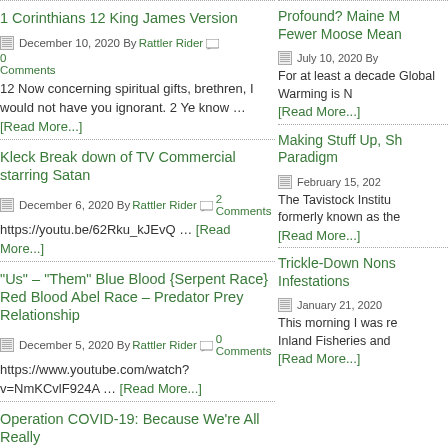1 Corinthians 12 King James Version
December 10, 2020 By Rattler Rider 0 Comments
12 Now concerning spiritual gifts, brethren, I would not have you ignorant. 2 Ye know … [Read More...]
Kleck Break down of TV Commercial starring Satan
December 6, 2020 By Rattler Rider 2 Comments
https://youtu.be/62Rku_kJEvQ … [Read More...]
“Us” – “Them” Blue Blood {Serpent Race} Red Blood Abel Race – Predator Prey Relationship
December 5, 2020 By Rattler Rider 0 Comments
https://www.youtube.com/watch?v=NmKCvlF924A … [Read More...]
Operation COVID-19: Because We’re All Really
Profound? Maine M Fewer Moose Mean
July 10, 2020 By
For at least a decade Global Warming is N [Read More...]
Making Stuff Up, Sh Paradigm
February 15, 202
The Tavistock Institu formerly known as the [Read More...]
Trickle-Down Nons Infestations
January 21, 2020
This morning I was re Inland Fisheries and [Read More...]